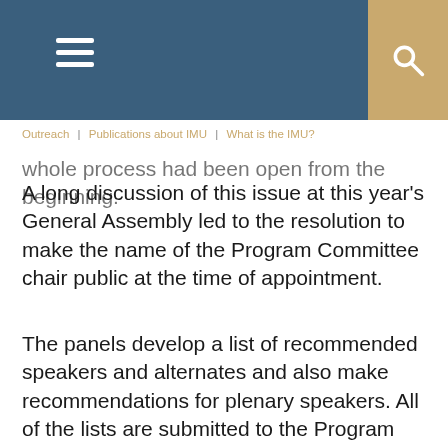Outreach | Publications about IMU | What is the IMU?
whole process had been open from the beginning. A long discussion of this issue at this year's General Assembly led to the resolution to make the name of the Program Committee chair public at the time of appointment.
The panels develop a list of recommended speakers and alternates and also make recommendations for plenary speakers. All of the lists are submitted to the Program Committee. The alternates are important because sometimes more than one panel chooses the same speaker, or a speaker declines. In addition, the Program Committee must also ensure that the whole